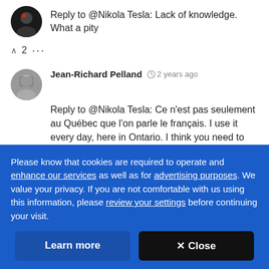[Figure (photo): Round avatar photo of a person with dark background, top of page]
Reply to @Nikola Tesla: Lack of knowledge. What a pity
^ 2 ...
[Figure (photo): Round avatar photo of Jean-Richard Pelland in black and white]
Jean-Richard Pelland  2 years ago
Reply to @Nikola Tesla: Ce n'est pas seulement au Québec que l'on parle le français. I use it every day, here in Ontario. I think you need to adapt
Please know that cookies are required to operate and enhance our services as well as for advertising purposes. We value your privacy. If you are not comfortable with us using this information, please review your settings before continuing your visit.
Learn more
✕ Close